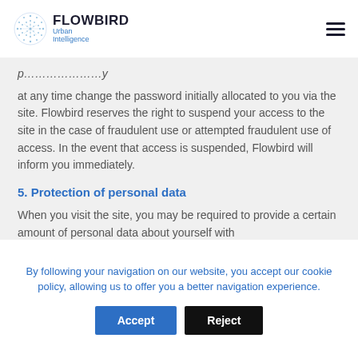Flowbird Urban Intelligence — Navigation header with logo and hamburger menu
at any time change the password initially allocated to you via the site. Flowbird reserves the right to suspend your access to the site in the case of fraudulent use or attempted fraudulent use of access. In the event that access is suspended, Flowbird will inform you immediately.
5. Protection of personal data
When you visit the site, you may be required to provide a certain amount of personal data about yourself with
By following your navigation on our website, you accept our cookie policy, allowing us to offer you a better navigation experience.